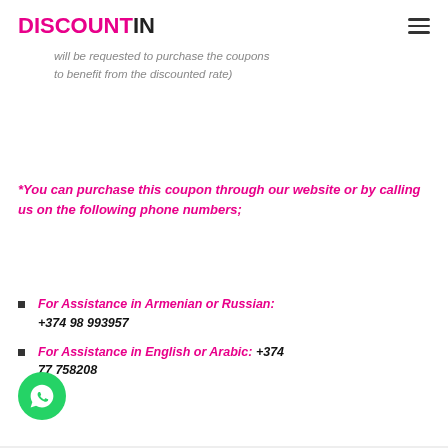DISCOUNTIN
will be requested to purchase the coupons to benefit from the discounted rate)
*You can purchase this coupon through our website or by calling us on the following phone numbers;
For Assistance in Armenian or Russian: +374 98 993957
For Assistance in English or Arabic: +374 77 758208